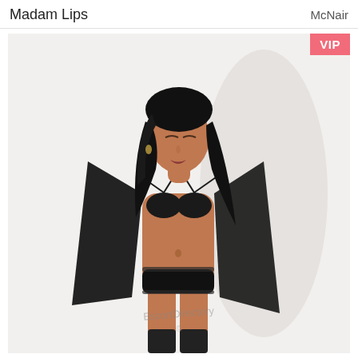Madam Lips  McNair
[Figure (photo): Portrait photo of a woman with long dark hair wearing black lingerie and an open black jacket, posing against a white background. A pink VIP badge is overlaid in the top-right corner. A watermark is visible at the bottom of the image.]